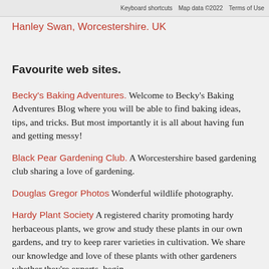[Figure (screenshot): Partial map screenshot showing green terrain, with map attribution bar showing 'Keyboard shortcuts', 'Map data ©2022', 'Terms of Use']
Hanley Swan, Worcestershire. UK
Favourite web sites.
Becky's Baking Adventures. Welcome to Becky's Baking Adventures Blog where you will be able to find baking ideas, tips, and tricks. But most importantly it is all about having fun and getting messy!
Black Pear Gardening Club. A Worcestershire based gardening club sharing a love of gardening.
Douglas Gregor Photos Wonderful wildlife photography.
Hardy Plant Society A registered charity promoting hardy herbaceous plants, we grow and study these plants in our own gardens, and try to keep rarer varieties in cultivation. We share our knowledge and love of these plants with other gardeners whether they're experts, begin
National Garden Scheme The garden charity.